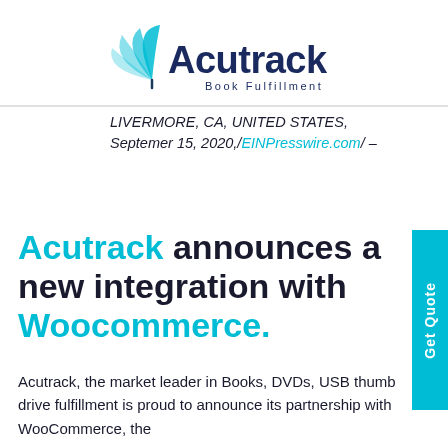[Figure (logo): Acutrack Book Fulfillment logo with teal leaf/book graphic and dark blue wordmark]
LIVERMORE, CA, UNITED STATES, Septemer 15, 2020,/EINPresswire.com/ –
Acutrack announces a new integration with Woocommerce.
Acutrack, the market leader in Books, DVDs, USB thumb drive fulfillment is proud to announce its partnership with WooCommerce, the